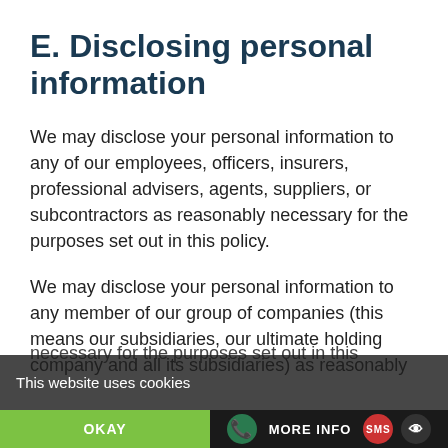E. Disclosing personal information
We may disclose your personal information to any of our employees, officers, insurers, professional advisers, agents, suppliers, or subcontractors as reasonably necessary for the purposes set out in this policy.
We may disclose your personal information to any member of our group of companies (this means our subsidiaries, our ultimate holding company and all its subsidiaries) as reasonably necessary for the purposes set out in this
This website uses cookies  OKAY  MORE INFO